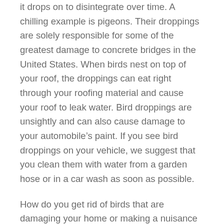it drops on to disintegrate over time. A chilling example is pigeons. Their droppings are solely responsible for some of the greatest damage to concrete bridges in the United States. When birds nest on top of your roof, the droppings can eat right through your roofing material and cause your roof to leak water. Bird droppings are unsightly and can also cause damage to your automobile's paint. If you see bird droppings on your vehicle, we suggest that you clean them with water from a garden hose or in a car wash as soon as possible.
How do you get rid of birds that are damaging your home or making a nuisance of themselves? For the typical person this is a very difficult task. Before you even begin, you should learn the laws of protection that are in force for most aviary species. As an example, once many bird species completely build their nests (which can only take a few hours), you are unable to move or dismantle it. Doing so can cost